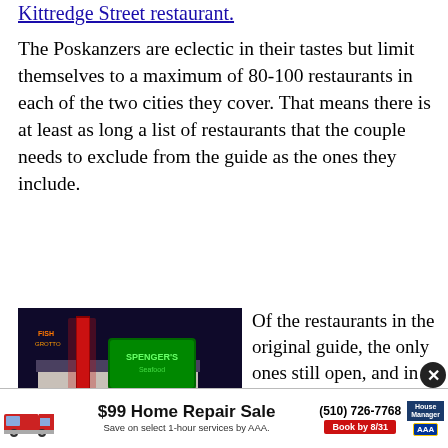Kittredge Street restaurant.
The Poskanzers are eclectic in their tastes but limit themselves to a maximum of 80-100 restaurants in each of the two cities they cover. That means there is at least as long a list of restaurants that the couple needs to exclude from the guide as the ones they include.
[Figure (photo): Nighttime photo of Spenger's Fresh Fish Grotto exterior showing neon signage with 'Spenger's Seafood' sign lit up in green, with red neon lights and building facade.]
Spenger's Fresh Fish Grotto: in original 1978 guide, and still there
Of the restaurants in the original guide, the only ones still open, and in the current guide, are Chez Panisse, Spenger's, Bay Wolf, Yoshi's, and Bateau Ivre.
$99 Home Repair Sale — Save on select 1-hour services by AAA. (510) 726-7768 Book by 8/31 House Manager AAA